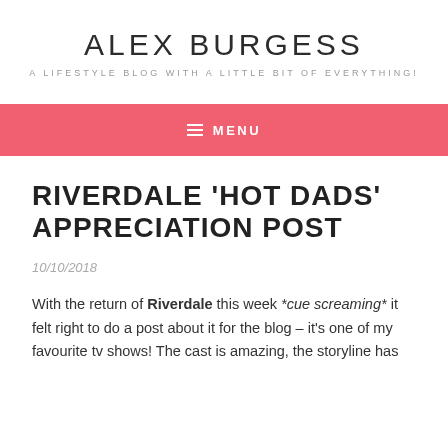ALEX BURGESS
A LIFESTYLE BLOG WITH A LITTLE BIT OF EVERYTHING!
≡ MENU
RIVERDALE 'HOT DADS' APPRECIATION POST
10/10/2018
With the return of Riverdale this week *cue screaming* it felt right to do a post about it for the blog – it's one of my favourite tv shows! The cast is amazing, the storyline has